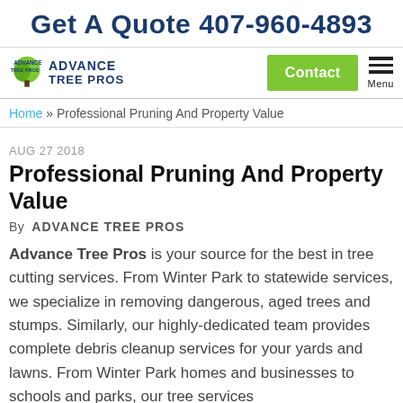Get A Quote 407-960-4893
[Figure (logo): Advance Tree Pros logo with green tree icon and blue text]
Contact
Menu
Home » Professional Pruning And Property Value
AUG 27 2018
Professional Pruning And Property Value
By  ADVANCE TREE PROS
Advance Tree Pros is your source for the best in tree cutting services. From Winter Park to statewide services, we specialize in removing dangerous, aged trees and stumps. Similarly, our highly-dedicated team provides complete debris cleanup services for your yards and lawns. From Winter Park homes and businesses to schools and parks, our tree services